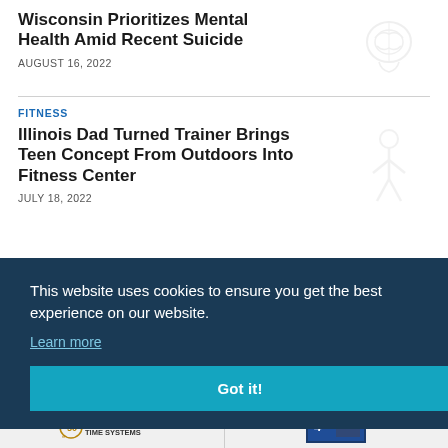Wisconsin Prioritizes Mental Health Amid Recent Suicide
AUGUST 16, 2022
FITNESS
Illinois Dad Turned Trainer Brings Teen Concept From Outdoors Into Fitness Center
JULY 18, 2022
[Figure (illustration): Brain icon illustration, light gray/white watermark style]
[Figure (illustration): Person fitness icon illustration, light gray/white watermark style]
This website uses cookies to ensure you get the best experience on our website.
Learn more
Got it!
[Figure (logo): 50th anniversary logo with TIME SYSTEMS text]
[Figure (screenshot): TV channel 4 news screenshot thumbnail]